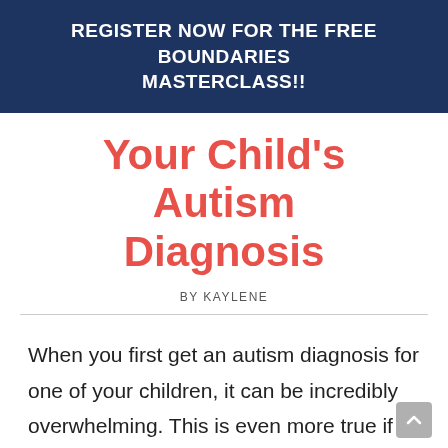REGISTER NOW FOR THE FREE BOUNDARIES MASTERCLASS!!
Your Child's Autism Diagnosis
BY KAYLENE
When you first get an autism diagnosis for one of your children, it can be incredibly overwhelming. This is even more true if it's a diagnosis you weren't expecting. It can suddenly feel like your child, and your entire world, is different. They're talking about therapy and